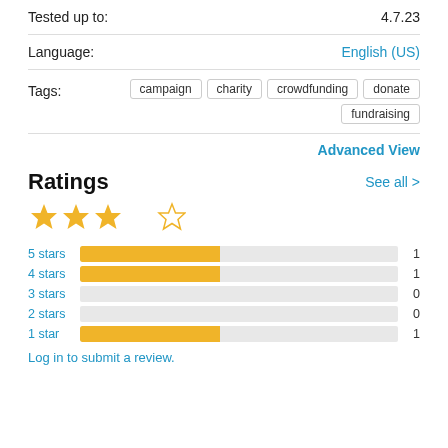Tested up to: 4.7.23
Language: English (US)
Tags: campaign, charity, crowdfunding, donate, fundraising
Advanced View
Ratings
[Figure (bar-chart): Ratings breakdown]
Log in to submit a review.